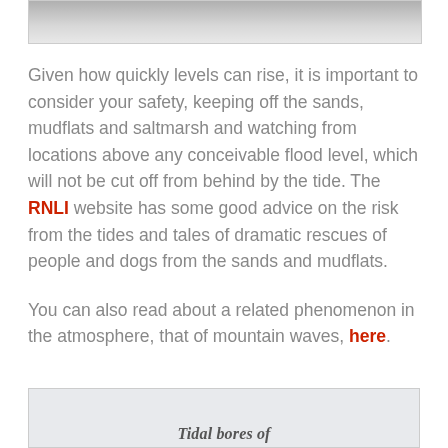[Figure (photo): Top portion of a photograph, appears to show a coastal or tidal flat scene, partially cropped]
Given how quickly levels can rise, it is important to consider your safety, keeping off the sands, mudflats and saltmarsh and watching from locations above any conceivable flood level, which will not be cut off from behind by the tide. The RNLI website has some good advice on the risk from the tides and tales of dramatic rescues of people and dogs from the sands and mudflats.

You can also read about a related phenomenon in the atmosphere, that of mountain waves, here.
[Figure (photo): Bottom portion of a box/image with text beginning 'Tidal bores of' — partially visible at bottom of page]